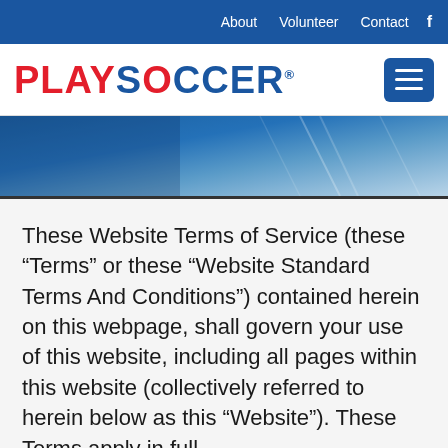About   Volunteer   Contact   f
[Figure (logo): PLAYSOCCER logo with PLAY in red and SOCCER in blue, with registered trademark symbol]
[Figure (photo): Blue soccer-themed hero banner image with light geometric lines]
These Website Terms of Service (these “Terms” or these “Website Standard Terms And Conditions”) contained herein on this webpage, shall govern your use of this website, including all pages within this website (collectively referred to herein below as this “Website”). These Terms apply in full